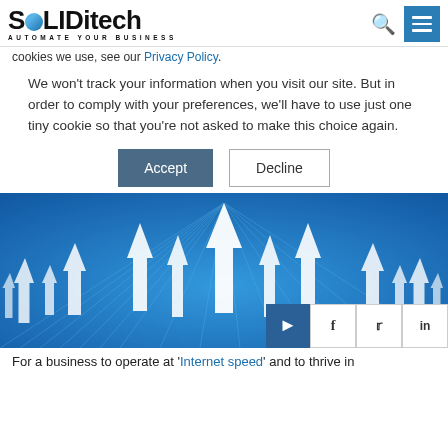SOLIDitech AUTOMATE YOUR BUSINESS
cookies we use, see our Privacy Policy.
We won't track your information when you visit our site. But in order to comply with your preferences, we'll have to use just one tiny cookie so that you're not asked to make this choice again.
[Figure (illustration): Blue background with multiple white upward-pointing arrows converging toward a vanishing point, suggesting speed and growth.]
For a business to operate at 'Internet speed' and to thrive in